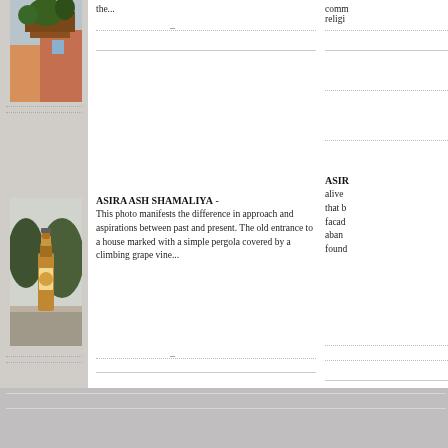[Figure (photo): Photo of rooftop with plants and terracotta pots, Mediterranean style building]
[Figure (photo): Photo of a beer bottle standing on a stone wall with trees in background]
the...
ASIRA ASH SHAMALIYA -
This photo manifests the difference in approach and aspirations between past and present. The old entrance to a house marked with a simple pergola covered by a climbing grape vine...
comm religi
ASIR
alive that b facad aban found